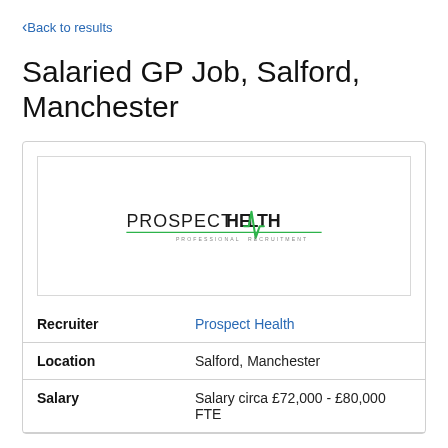Back to results
Salaried GP Job, Salford, Manchester
[Figure (logo): Prospect Health Professional Recruitment logo with ECG heartbeat line graphic]
| Recruiter | Prospect Health |
| Location | Salford, Manchester |
| Salary | Salary circa £72,000 - £80,000 FTE |